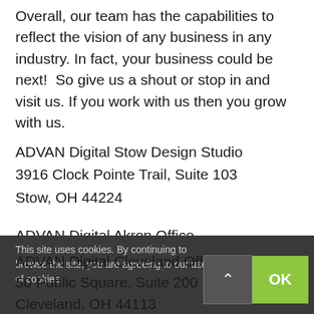Overall, our team has the capabilities to reflect the vision of any business in any industry. In fact, your business could be next!  So give us a shout or stop in and visit us. If you work with us then you grow with us.
ADVAN Digital Stow Design Studio
3916 Clock Pointe Trail, Suite 103
Stow, OH 44224
ADVAN Digital Akron Office
111 Hollinger Ave
Akron, OH 44302
This site uses cookies. By continuing to browse the site, you are agreeing to our use of cookies.
ADVAN Digital Cleveland Office
50 Public Square, Suite 200
Cleveland, OH 44113